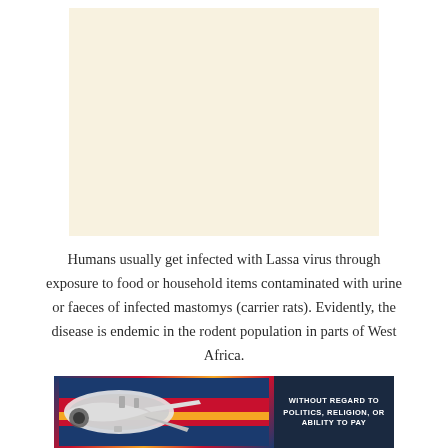[Figure (other): Advertisement placeholder with cream/beige background]
Humans usually get infected with Lassa virus through exposure to food or household items contaminated with urine or faeces of infected mastomys (carrier rats). Evidently, the disease is endemic in the rodent population in parts of West Africa.
[Figure (photo): Advertisement banner showing a cargo airplane being loaded, with colorful livery in red, yellow, and blue. Text overlay reads WITHOUT REGARD TO with additional small text below.]